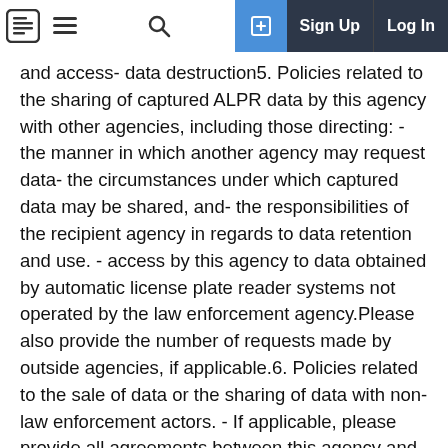[ icon ] ≡   🔍   [+]  Sign Up   Log In
and access- data destruction5. Policies related to the sharing of captured ALPR data by this agency with other agencies, including those directing: - the manner in which another agency may request data- the circumstances under which captured data may be shared, and- the responsibilities of the recipient agency in regards to data retention and use. - access by this agency to data obtained by automatic license plate reader systems not operated by the law enforcement agency.Please also provide the number of requests made by outside agencies, if applicable.6. Policies related to the sale of data or the sharing of data with non-law enforcement actors. - If applicable, please provide all agreements between this agency and non-law enforcement actors.7. Policies regarding oversight of automatic license plate reader system use.8. Audit Reports9. Policies related to maintenance and calibration.Please also provide maintenance and calibration schedules and records for the system on file.10. Any other policies or reports on subjects related to automatic license